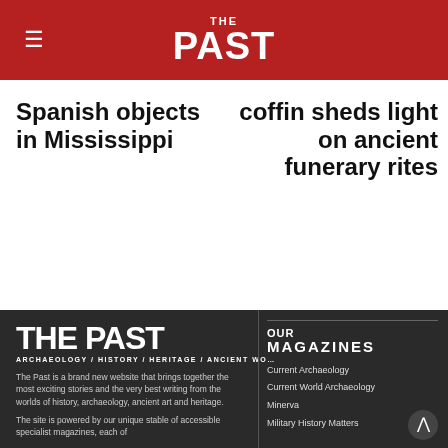THE PAST
Spanish objects in Mississippi
coffin sheds light on ancient funerary rites
[Figure (logo): THE PAST logo — white text on dark background with tagline ARCHAEOLOGY / HISTORY / HERITAGE / ANCIENT WORLD]
The Past is a brand new website that brings together the most exciting stories and the very best writing from the worlds of history, archaeology, ancient art and heritage.
The site is powered by our unique stable of accessible specialist magazines, each of
OUR MAGAZINES
Current Archaeology
Current World Archaeology
Minerva
Military History Matters